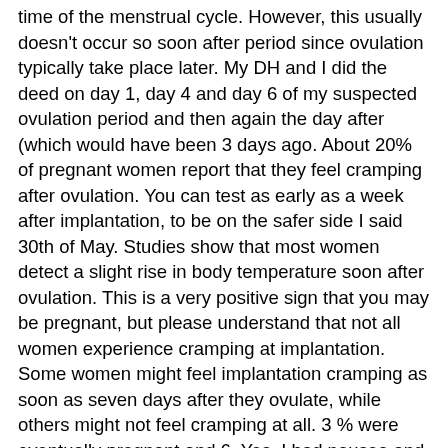time of the menstrual cycle. However, this usually doesn't occur so soon after period since ovulation typically take place later. My DH and I did the deed on day 1, day 4 and day 6 of my suspected ovulation period and then again the day after (which would have been 3 days ago. About 20% of pregnant women report that they feel cramping after ovulation. You can test as early as a week after implantation, to be on the safer side I said 30th of May. Studies show that most women detect a slight rise in body temperature soon after ovulation. This is a very positive sign that you may be pregnant, but please understand that not all women experience cramping at implantation. Some women might feel implantation cramping as soon as seven days after they ovulate, while others might not feel cramping at all. 3 % were eventually pregnant and 6. Yes, I had nausea and cramping on clomid during the ovulation time (and well the whole month). Before implantation occurs, it is very unlikely to have cramping as a symptom. Constipation is another